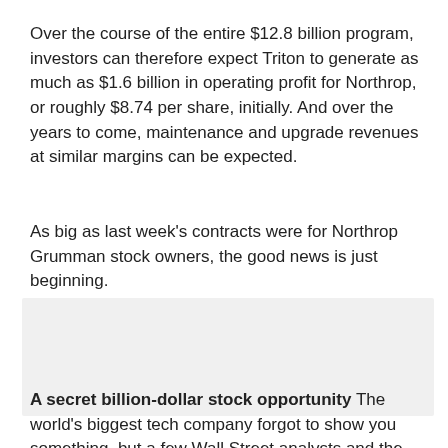Over the course of the entire $12.8 billion program, investors can therefore expect Triton to generate as much as $1.6 billion in operating profit for Northrop, or roughly $8.74 per share, initially. And over the years to come, maintenance and upgrade revenues at similar margins can be expected.
As big as last week's contracts were for Northrop Grumman stock owners, the good news is just beginning.
[Figure (other): Gray placeholder box representing an advertisement or image block]
A secret billion-dollar stock opportunity The world's biggest tech company forgot to show you something, but a few Wall Street analysts and the Fool didn't miss a beat: